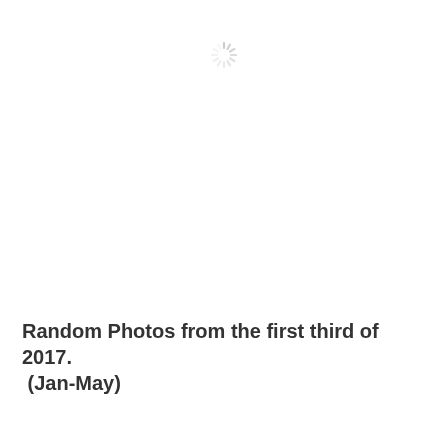[Figure (other): A loading spinner icon (starburst/radial lines) shown in light gray, centered near the top of the page.]
Random Photos from the first third of 2017. (Jan-May)